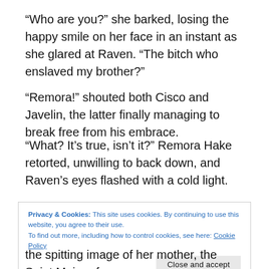“Who are you?” she barked, losing the happy smile on her face in an instant as she glared at Raven. “The bitch who enslaved my brother?”
“Remora!” shouted both Cisco and Javelin, the latter finally managing to break free from his embrace.
“What? It’s true, isn’t it?” Remora Hake retorted, unwilling to back down, and Raven’s eyes flashed with a cold light.
Privacy & Cookies: This site uses cookies. By continuing to use this website, you agree to their use.
To find out more, including how to control cookies, see here: Cookie Policy
Close and accept
the spitting image of her mother, the Saint Major of